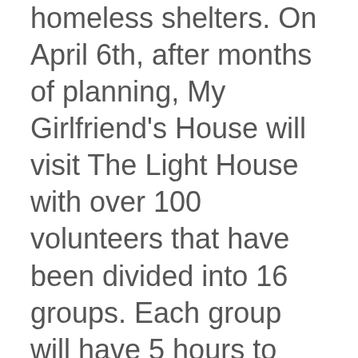homeless shelters. On April 6th, after months of planning, My Girlfriend's House will visit The Light House with over 100 volunteers that have been divided into 16 groups. Each group will have 5 hours to makeover their designated spaces with new paint, furniture, decor, and minor building repairs. Spaces being renovated include the entire third floor which has apartments for families and a common